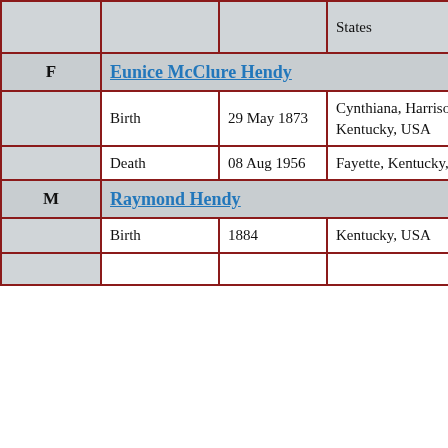| Gender | Event | Date | Place |
| --- | --- | --- | --- |
|  |  |  | States |
| F | Eunice McClure Hendy |  |  |
|  | Birth | 29 May 1873 | Cynthiana, Harrison, Kentucky, USA |
|  | Death | 08 Aug 1956 | Fayette, Kentucky, USA |
| M | Raymond Hendy |  |  |
|  | Birth | 1884 | Kentucky, USA |